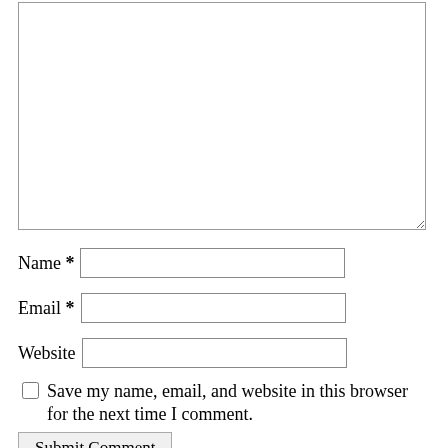[Figure (other): Text area input box (comment field)]
Name *
Email *
Website
Save my name, email, and website in this browser for the next time I comment.
Submit Comment
| S | M | T | W | T | F | S |
| --- | --- | --- | --- | --- | --- | --- |
|  |  |  |  | 1 | 2 | 3 |
| 4 | 5 | 6 | 7 | 8 | 9 | 10 |
| 11 | 12 | 13 | 14 | 15 | 16 | 17 |